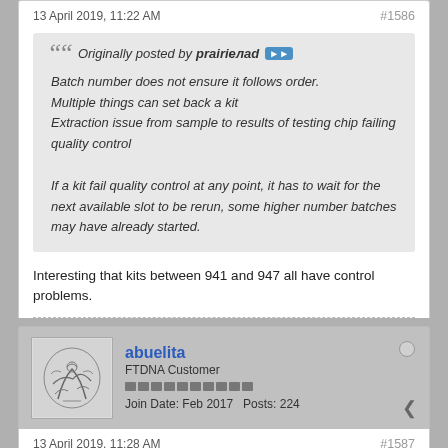13 April 2019, 11:22 AM
#1586
Originally posted by prairiелad
Batch number does not ensure it follows order.
Multiple things can set back a kit
Extraction issue from sample to results of testing chip failing quality control

If a kit fail quality control at any point, it has to wait for the next available slot to be rerun, some higher number batches may have already started.
Interesting that kits between 941 and 947 all have control problems.
abuelita
FTDNA Customer
Join Date: Feb 2017   Posts: 224
13 April 2019, 11:28 AM
#1587